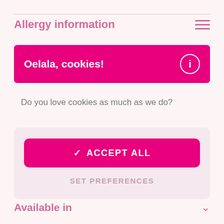Allergy information
Oelala, cookies!
Do you love cookies as much as we do?
✓ ACCEPT ALL
SET PREFERENCES
Available in